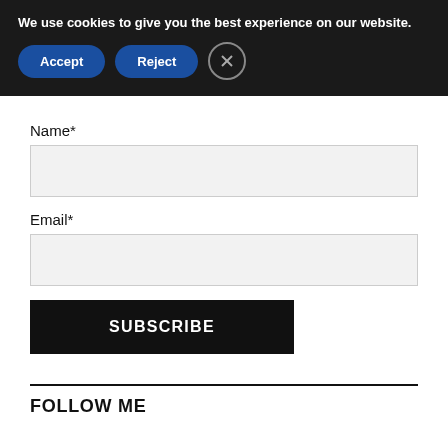We use cookies to give you the best experience on our website.
Accept | Reject | [close]
Name*
Email*
SUBSCRIBE
FOLLOW ME